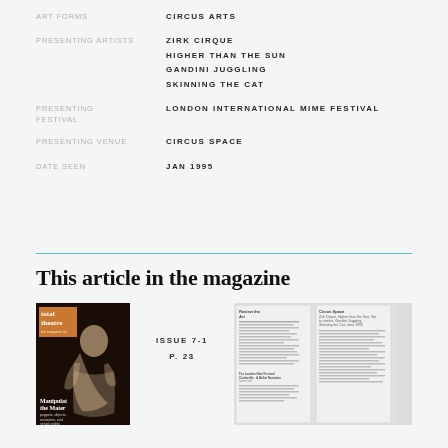ART FORMS: CIRCUS ARTS
PRESENTING ARTISTS: ZIRK CIRQUE, HIGHER THAN THE SUN, GANDINI JUGGLING, SKINNING THE CAT
PRESENTING FESTIVAL: LONDON INTERNATIONAL MIME FESTIVAL
PRESENTING VENUE: CIRCUS SPACE
DATE SEEN: JAN 1995
This article in the magazine
ISSUE 7-1
P. 23
[Figure (illustration): Magazine cover of Total Theatre issue 7-1 showing a woman figure in theatrical costume against dark background, with text 'Manipulating the Material - puppets, objects, animation, and virtual reality']